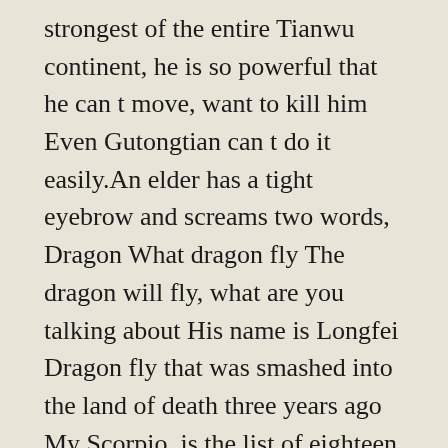strongest of the entire Tianwu continent, he is so powerful that he can t move, want to kill him Even Gutongtian can t do it easily.An elder has a tight eyebrow and screams two words, Dragon What dragon fly The dragon will fly, what are you talking about His name is Longfei Dragon fly that was smashed into the land of death three years ago My Scorpio, is the list of eighteen deans who screamed the dragons of the Eight Great Elders The whole scene exploded.Those disciples all face a sigh, some people are afraid of it, some people show their worship, they have heard the story of Longfei, too strong, too cruel, just think of the devil.
day Yan Zhili and Later buy garcinia cambogia slim, the Emperor Yan Tian used this power to create a vein of the heavens, but also opened up a side of the heavens, and there is a secret. Top pills 365 review Hey, the power of Tian Yan, is this not to say that I have long had the roots